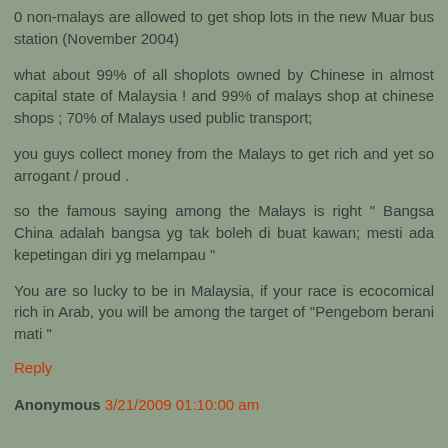0 non-malays are allowed to get shop lots in the new Muar bus station (November 2004)
what about 99% of all shoplots owned by Chinese in almost capital state of Malaysia ! and 99% of malays shop at chinese shops ; 70% of Malays used public transport;
you guys collect money from the Malays to get rich and yet so arrogant / proud .
so the famous saying among the Malays is right " Bangsa China adalah bangsa yg tak boleh di buat kawan; mesti ada kepetingan diri yg melampau "
You are so lucky to be in Malaysia, if your race is ecocomical rich in Arab, you will be among the target of "Pengebom berani mati "
Reply
Anonymous 3/21/2009 01:10:00 am